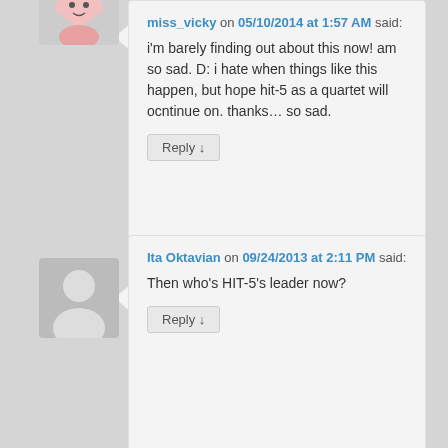[Figure (illustration): Avatar image for miss_vicky, cartoon/anime style character]
miss_vicky on 05/10/2014 at 1:57 AM said:
i'm barely finding out about this now! am so sad. D: i hate when things like this happen, but hope hit-5 as a quartet will ocntinue on. thanks… so sad.
Reply ↓
[Figure (illustration): Generic gray silhouette avatar for Ita Oktavian]
Ita Oktavian on 09/24/2013 at 2:11 PM said:
Then who's HIT-5's leader now?
Reply ↓